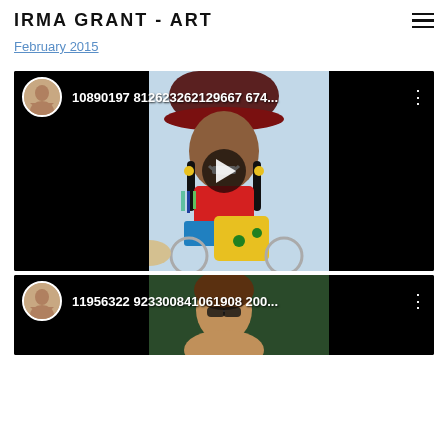IRMA GRANT - ART
February 2015
[Figure (screenshot): Social media video post thumbnail showing an illustrated woman in red riding a bicycle with a dog, profile avatar of a woman smiling, title text '10890197 812623262129667 674...' with three-dot menu icon and play button overlay]
[Figure (screenshot): Social media video post thumbnail showing a photo of a woman, profile avatar of a woman smiling, title text '11956322 923300841061908 200...' with three-dot menu icon]